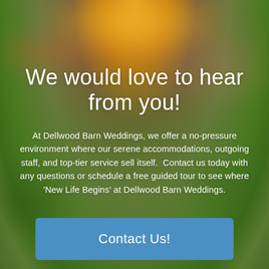[Figure (photo): Blurred outdoor background photo showing a green field with warm golden/orange sunset sky at top and blurred white figure (possibly a person in white dress) at bottom center.]
We would love to hear from you!
At Dellwood Barn Weddings, we offer a no-pressure environment where our serene accommodations, outgoing staff, and top-tier service sell itself.  Contact us today with any questions or schedule a free guided tour to see where 'New Life Begins' at Dellwood Barn Weddings.
Contact Us!